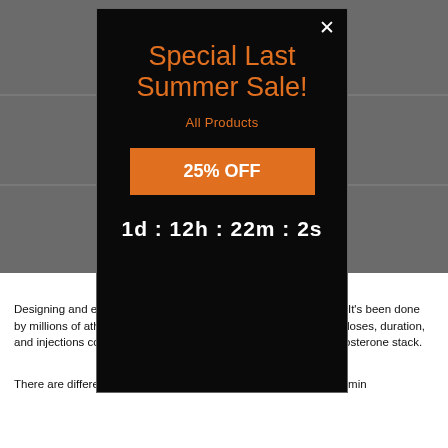[Figure (screenshot): A modal popup on a dark gray website background. The modal has a black background with an X close button in the top right. It contains orange text reading 'Special Last Summer Sale!', orange text 'All Products', an orange button with white bold text '25% OFF', and a white countdown timer '1d : 12h : 22m : 2s'.]
What's An Ideal Testosterone Stack?
Designing and employing a testosterone stack isn't all that tough. It's been done by millions of athletes for nearly a hundred years now. Plan your doses, duration, and injections correctly and you'll see great results from your testosterone stack.
Testosterone Supplements
There are different classifications of males when it comes to determin...